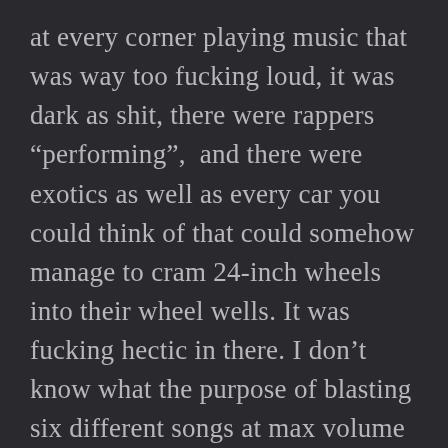at every corner playing music that was way too fucking loud, it was dark as shit, there were rappers “performing”,  and there were exotics as well as every car you could think of that could somehow manage to cram 24-inch wheels into their wheel wells. It was fucking hectic in there. I don’t know what the purpose of blasting six different songs at max volume simultaneously was, but it was so loud in there that you couldn’t even have a conversation with the person standing inches away from you without screaming at them. I didn’t even plan on going at all, but I